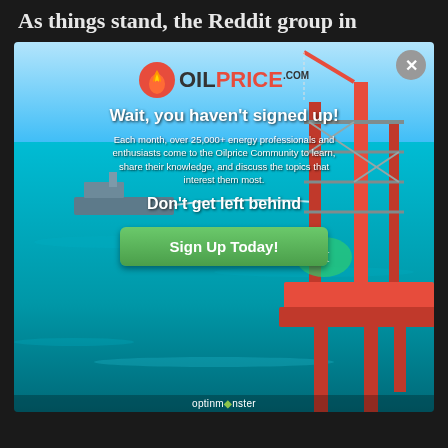As things stand, the Reddit group in
[Figure (screenshot): OilPrice.com popup modal overlay on ocean/oil rig background. Contains OilPrice logo, headline 'Wait, you haven't signed up!', body text about 25,000+ energy professionals, subline 'Don't get left behind', and a green 'Sign Up Today!' button. Close button (X) in top right. OptinMonster branding at bottom.]
one hand, the members of the WallStreetBets are sticking to their guns and on a clear mission. On the other